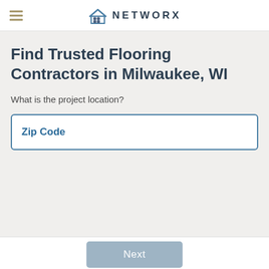NETWORX
Find Trusted Flooring Contractors in Milwaukee, WI
What is the project location?
Zip Code
Next